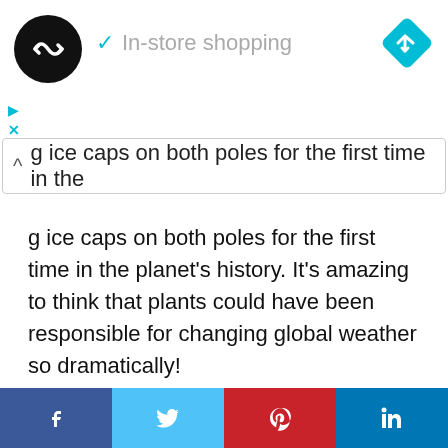[Figure (screenshot): Browser UI: circular black logo with infinity-like arrow symbol, cyan checkmark and 'In-store shopping' text, blue diamond navigation icon, play and close controls, search bar with caret]
g ice caps on both poles for the first time in the planet's history. It's amazing to think that plants could have been responsible for changing global weather so dramatically!
Perhaps the most ironic of climate change facts is that the Azolla plants that died and sunk to the bottom of the ocean may be a source of fossil fuel. Layers of fossilized plants eventually become the coal and oil that we burn for energy. Burning this coal and oil releases the carbon dioxide that was trapped by the plants, causing the Earth to warm again.
Facebook | Twitter | Pinterest | LinkedIn social share buttons